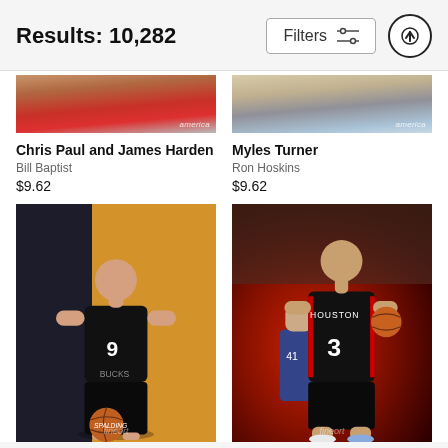Results: 10,282
Chris Paul and James Harden
Bill Baptist
$9.62
Myles Turner
Ron Hoskins
$9.62
[Figure (photo): NBA photo - Milwaukee Bucks player #9 in black jersey holding a basketball, posing against gold/dark background]
[Figure (photo): NBA game action photo - Houston Rockets player #3 dribbling ball during game with crowd in background]